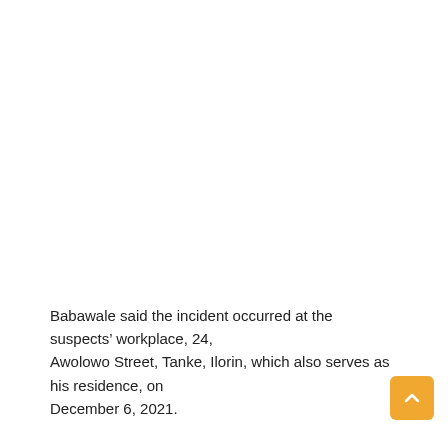Babawale said the incident occurred at the suspects' workplace, 24, Awolowo Street, Tanke, Ilorin, which also serves as his residence, on December 6, 2021.